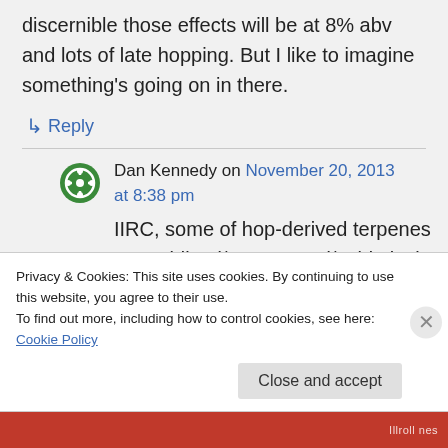discernible those effects will be at 8% abv and lots of late hopping. But I like to imagine something's going on in there.
↳ Reply
Dan Kennedy on November 20, 2013 at 8:38 pm
IIRC, some of hop-derived terpenes are oxidized/oxygenated/oxidatively
Privacy & Cookies: This site uses cookies. By continuing to use this website, you agree to their use.
To find out more, including how to control cookies, see here: Cookie Policy
Close and accept